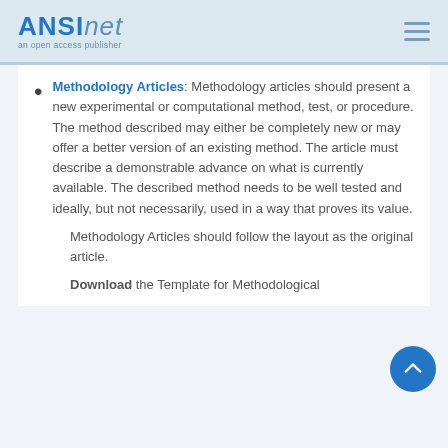ANSInet an open access publisher
Methodology Articles: Methodology articles should present a new experimental or computational method, test, or procedure. The method described may either be completely new or may offer a better version of an existing method. The article must describe a demonstrable advance on what is currently available. The described method needs to be well tested and ideally, but not necessarily, used in a way that proves its value.
Methodology Articles should follow the layout as the original article.
Download the Template for Methodological